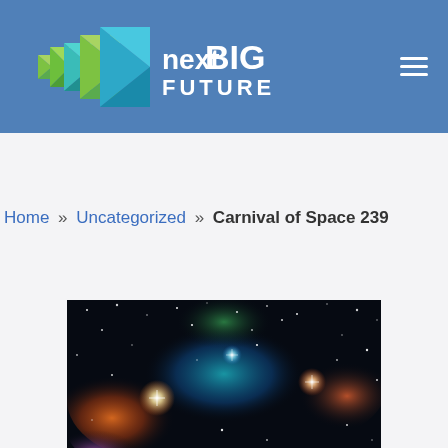nextBIG FUTURE
Home » Uncategorized » Carnival of Space 239
[Figure (photo): Colorful space nebula photograph with bright star clusters and glowing clouds of orange, blue, green and purple against a dark starfield background]